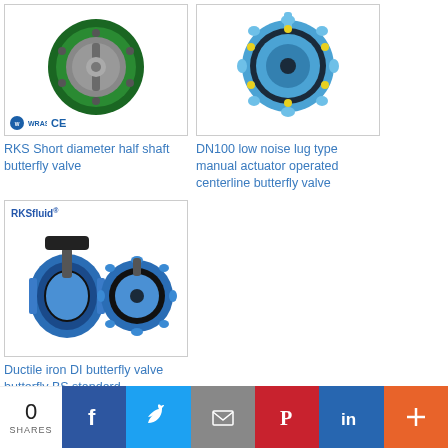[Figure (photo): RKS Short diameter half shaft butterfly valve with WRAS and CE badges]
RKS Short diameter half shaft butterfly valve
[Figure (photo): DN100 low noise lug type manual actuator operated centerline butterfly valve, shown in blue]
DN100 low noise lug type manual actuator operated centerline butterfly valve
[Figure (photo): RKSfluid branded ductile iron DI butterfly valve butterfly BS standard, showing two valves]
Ductile iron DI butterfly valve butterfly BS standard
0 SHARES | Facebook | Twitter | Email | Pinterest | LinkedIn | More